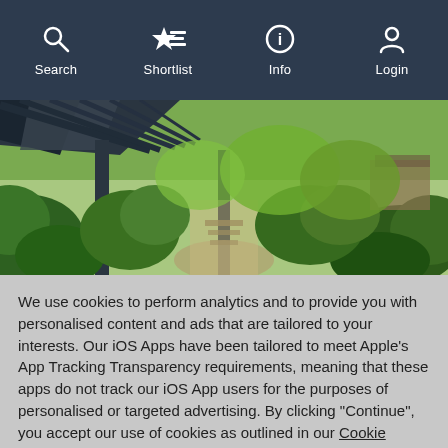Search | Shortlist | Info | Login
[Figure (photo): Outdoor garden/backyard scene viewed from under a dark pergola/shade structure, with lush tropical green plants, shrubs, and trees visible beyond. A path leads through the garden.]
We use cookies to perform analytics and to provide you with personalised content and ads that are tailored to your interests. Our iOS Apps have been tailored to meet Apple's App Tracking Transparency requirements, meaning that these apps do not track our iOS App users for the purposes of personalised or targeted advertising. By clicking "Continue", you accept our use of cookies as outlined in our Cookie Policy.
Continue